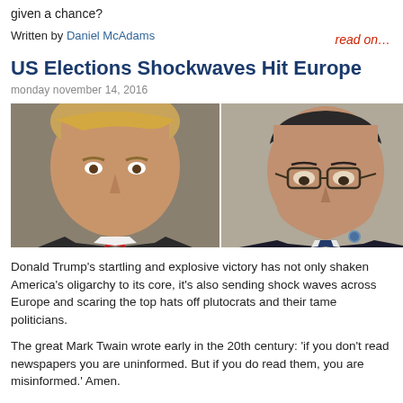given a chance?
read on…
Written by Daniel McAdams
US Elections Shockwaves Hit Europe
monday november 14, 2016
[Figure (photo): Two side-by-side photos: left shows Donald Trump facing slightly right, right shows a man with glasses (François Hollande) looking down, wearing a suit with a badge.]
Donald Trump's startling and explosive victory has not only shaken America's oligarchy to its core, it's also sending shock waves across Europe and scaring the top hats off plutocrats and their tame politicians.
The great Mark Twain wrote early in the 20th century: 'if you don't read newspapers you are uninformed. But if you do read them, you are misinformed.' Amen.
As with the 2003 war against Iraq, the US media totally dropped its mask of phony impartiality and became a cheerleader for the Clintons and their financial backers.